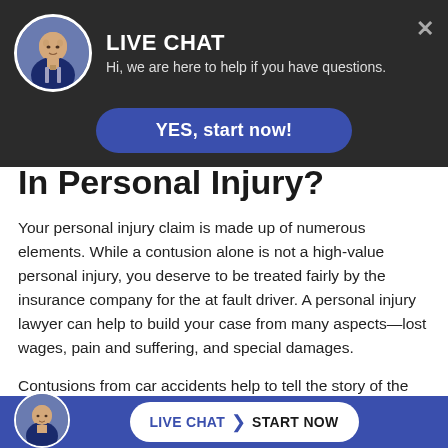[Figure (screenshot): Live chat overlay widget with dark background, avatar of a man in a suit, 'LIVE CHAT' heading, subtitle 'Hi, we are here to help if you have questions.', close button X, and a blue 'YES, start now!' button]
In Personal Injury?
Your personal injury claim is made up of numerous elements. While a contusion alone is not a high-value personal injury, you deserve to be treated fairly by the insurance company for the at fault driver. A personal injury lawyer can help to build your case from many aspects—lost wages, pain and suffering, and special damages.
Contusions from car accidents help to tell the story of the accident. A contusion on your head or face shows you made contact with your vehicle und...
[Figure (screenshot): Bottom blue bar with avatar and 'LIVE CHAT > START NOW' button]